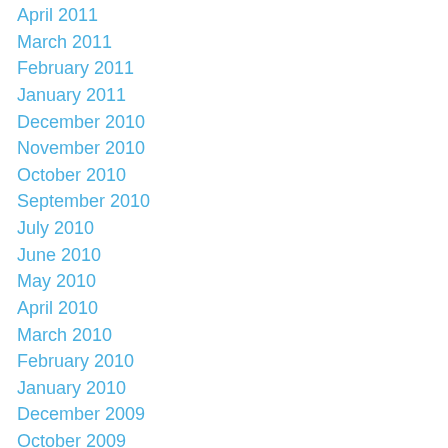April 2011
March 2011
February 2011
January 2011
December 2010
November 2010
October 2010
September 2010
July 2010
June 2010
May 2010
April 2010
March 2010
February 2010
January 2010
December 2009
October 2009
September 2009
August 2009
June 2009